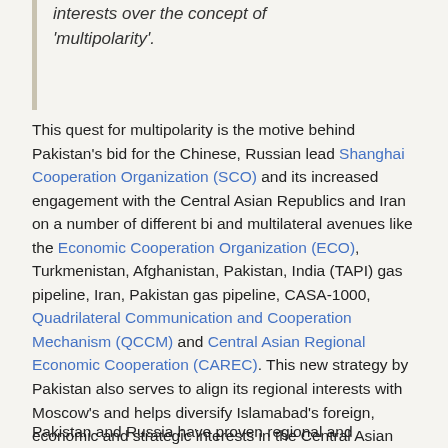interests over the concept of 'multipolarity'.
This quest for multipolarity is the motive behind Pakistan's bid for the Chinese, Russian lead Shanghai Cooperation Organization (SCO) and its increased engagement with the Central Asian Republics and Iran on a number of different bi and multilateral avenues like the Economic Cooperation Organization (ECO), Turkmenistan, Afghanistan, Pakistan, India (TAPI) gas pipeline, Iran, Pakistan gas pipeline, CASA-1000, Quadrilateral Communication and Cooperation Mechanism (QCCM) and Central Asian Regional Economic Cooperation (CAREC). This new strategy by Pakistan also serves to align its regional interests with Moscow's and helps diversify Islamabad's foreign, economic and strategic interests in the Central Asian region hence further depleting its toxic dependence on the United States for economic and diplomatic support.
Pakistan and Russia have proven regional and...